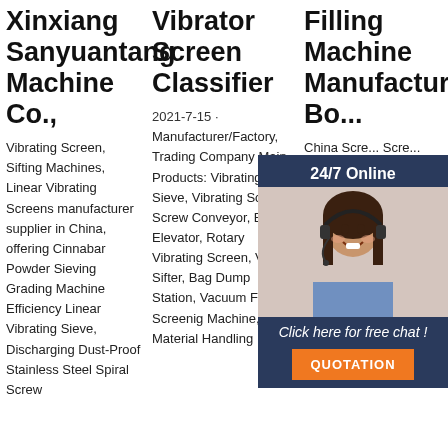Xinxiang Sanyuantang Machine Co.,
Vibrating Screen, Sifting Machines, Linear Vibrating Screens manufacturer supplier in China, offering Cinnabar Powder Sieving Grading Machine Efficiency Linear Vibrating Sieve, Discharging Dust-Proof Stainless Steel Spiral Screw
Vibrator Screen Classifier
2021-7-15 · Manufacturer/Factory, Trading Company Main Products: Vibrating Sieve, Vibrating Screen, Screw Conveyor, Bucket Elevator, Rotary Vibrating Screen, Vibro Sifter, Bag Dump Station, Vacuum Feeder, Screenig Machine, Bulk Material Handling
Filling Machine Manufacturer Bo...
China Screening Machine, Screening Machine, Powder Screening Machine, Linear Vibrating Screen, Carbon Steel Linear Vibrating Screen provided by China manufacturer - Xinxiang Hengyu Machinery Equipment Co., Ltd., page1.
[Figure (photo): Customer service representative with headset, smiling. Overlay widget with '24/7 Online', 'Click here for free chat!', and 'QUOTATION' button in orange.]